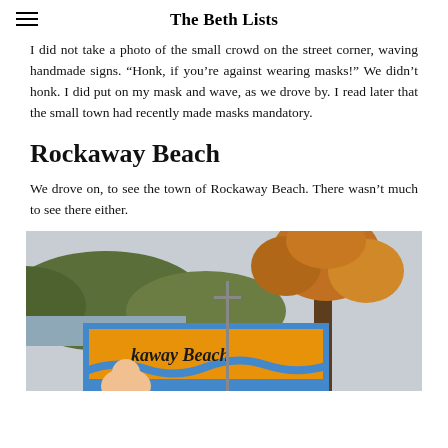The Beth Lists
I did not take a photo of the small crowd on the street corner, waving handmade signs. "Honk, if you're against wearing masks!" We didn't honk. I did put on my mask and wave, as we drove by. I read later that the small town had recently made masks mandatory.
Rockaway Beach
We drove on, to see the town of Rockaway Beach. There wasn't much to see there either.
[Figure (photo): Outdoor photo showing a colorful mural/sign for Rockaway Beach with orange and blue colors, a large tree with autumn foliage, hills and water in the background, and a person partially visible at the bottom left.]